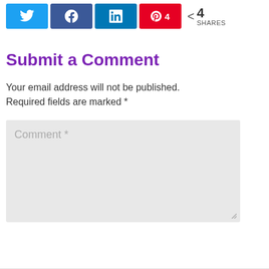[Figure (other): Social share buttons: Twitter (blue bird icon), Facebook (blue f icon), LinkedIn (blue in icon), Pinterest (red P icon with count 4), and a share icon with count 4 SHARES]
Submit a Comment
Your email address will not be published. Required fields are marked *
[Figure (other): Comment text area input field with placeholder text 'Comment *' on a light grey background with a resize handle in the bottom right corner]